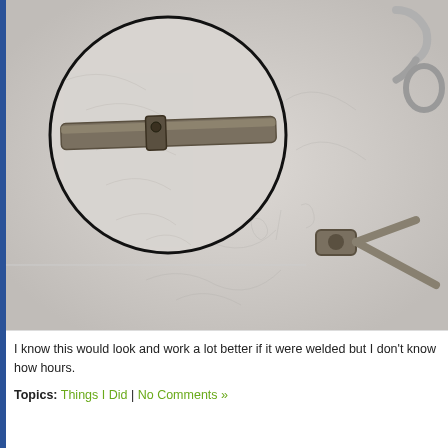[Figure (photo): Close-up photograph of metal mechanical parts/tubes with a circular magnified inset showing a joint or connector detail. The background shows a textured light-grey surface with faint pencil/scratch marks. Right side shows a metal hook or clip piece.]
I know this would look and work a lot better if it were welded but I don't know how hours.
Topics: Things I Did | No Comments »